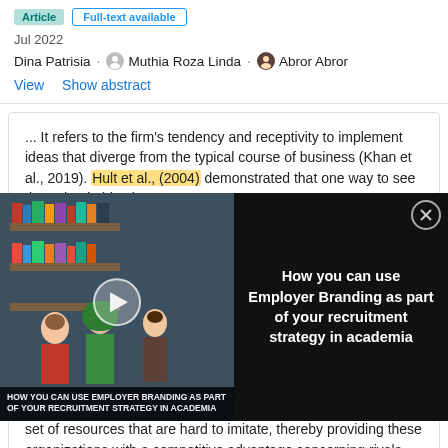Article | Full-text available
Jul 2022
Dina Patrisia · Muthia Roza Linda · Abror Abror
View   Show abstract
... It refers to the firm's tendency and receptivity to implement ideas that diverge from the typical course of business (Khan et al., 2019). Hult et al., (2004) demonstrated that one way to see the gained objectives
[Figure (screenshot): Video thumbnail showing students in a library with play button overlay and title 'HOW YOU CAN USE EMPLOYER BRANDING AS PART OF YOUR RECRUITMENT STRATEGY IN ACADEMIA'. Adjacent text panel reads: 'How you can use Employer Branding as part of your recruitment strategy in academia']
orientations within an organization may also constitute a unique set of resources that are hard to imitate, thereby providing these organizations with a competitive advantage concerning rivals (Hult et al., 2004; Liu et al., 2003). ...